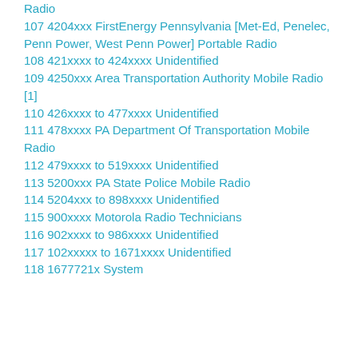Radio
107 4204xxx FirstEnergy Pennsylvania [Met-Ed, Penelec, Penn Power, West Penn Power] Portable Radio
108 421xxxx to 424xxxx Unidentified
109 4250xxx Area Transportation Authority Mobile Radio [1]
110 426xxxx to 477xxxx Unidentified
111 478xxxx PA Department Of Transportation Mobile Radio
112 479xxxx to 519xxxx Unidentified
113 5200xxx PA State Police Mobile Radio
114 5204xxx to 898xxxx Unidentified
115 900xxxx Motorola Radio Technicians
116 902xxxx to 986xxxx Unidentified
117 102xxxxx to 1671xxxx Unidentified
118 1677721x System